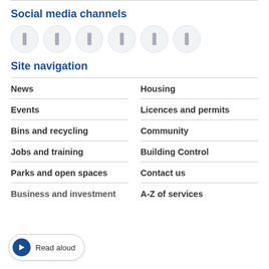Social media channels
[Figure (other): Row of six circular social media icon buttons]
Site navigation
News
Housing
Events
Licences and permits
Bins and recycling
Community
Jobs and training
Building Control
Parks and open spaces
Contact us
Business and investment
A-Z of services